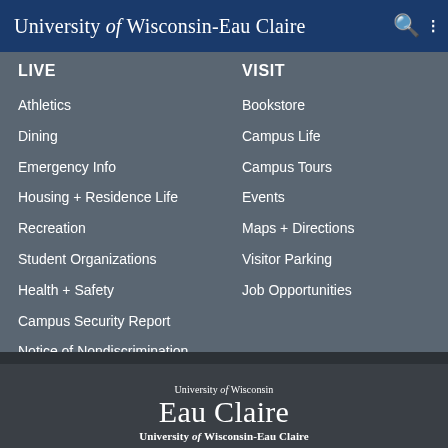University of Wisconsin-Eau Claire
LIVE
Athletics
Dining
Emergency Info
Housing + Residence Life
Recreation
Student Organizations
Health + Safety
Campus Security Report
Notice of Nondiscrimination
VISIT
Bookstore
Campus Life
Campus Tours
Events
Maps + Directions
Visitor Parking
Job Opportunities
[Figure (logo): University of Wisconsin Eau Claire logo with serif text]
University of Wisconsin-Eau Claire